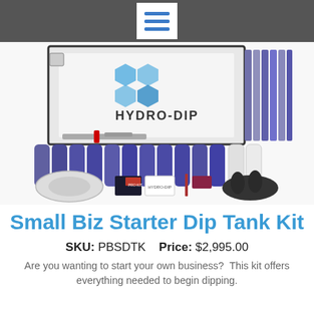[Figure (photo): A Hydro-Dip Small Biz Starter Dip Tank Kit product photo showing a white dip tank with the Hydro-Dip logo, multiple blue aerosol cans, hydrographic film rolls, a face mask, gloves, small brush, squeegee, and a product manual booklet.]
Small Biz Starter Dip Tank Kit
SKU: PBSDTK   Price: $2,995.00
Are you wanting to start your own business?  This kit offers everything needed to begin dipping.